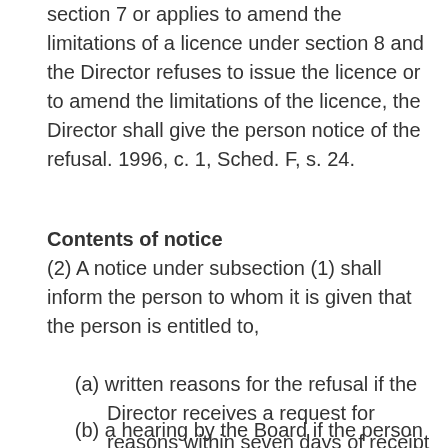section 7 or applies to amend the limitations of a licence under section 8 and the Director refuses to issue the licence or to amend the limitations of the licence, the Director shall give the person notice of the refusal. 1996, c. 1, Sched. F, s. 24.
Contents of notice
(2) A notice under subsection (1) shall inform the person to whom it is given that the person is entitled to,
(a) written reasons for the refusal if the Director receives a request for reasons within seven days of receipt of the notice of the refusal by the person; and
(b) a hearing by the Board if the person mails